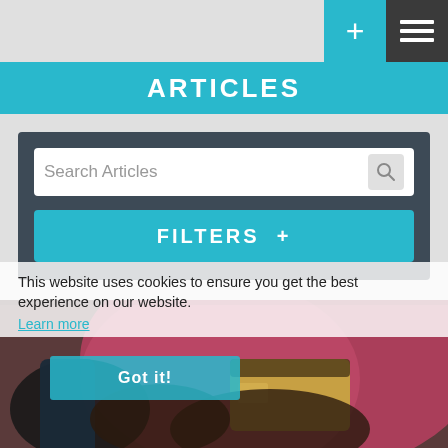[Figure (screenshot): Mobile app UI screenshot showing an articles page with a plus button, hamburger menu, ARTICLES header in cyan, a search bar labeled 'Search Articles', a cyan FILTERS + button, a cookie notice overlay, and a photo of hands holding a smartphone and credit card in the background.]
ARTICLES
Search Articles
FILTERS  +
This website uses cookies to ensure you get the best experience on our website. Learn more
Got it!